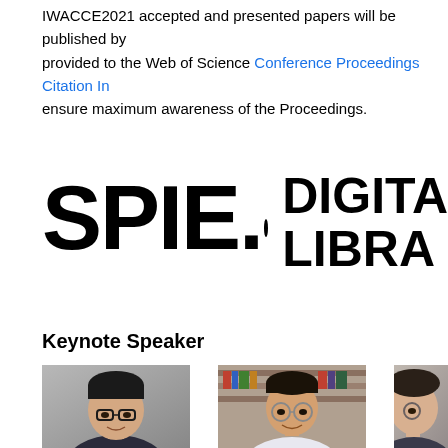IWACCE2021 accepted and presented papers will be published by provided to the Web of Science Conference Proceedings Citation In ensure maximum awareness of the Proceedings.
[Figure (logo): SPIE Digital Library logo - large bold black text showing 'SPIE.' with a dot, followed by 'DIGITAL LIBRA' (partially visible)]
Keynote Speaker
[Figure (photo): Portrait photo of an Asian man with glasses, dark hair, wearing a suit - one of the keynote speakers]
[Figure (photo): Portrait photo of an Asian man with round glasses, smiling, in front of bookshelves - one of the keynote speakers]
[Figure (photo): Partial portrait photo of a third keynote speaker, cropped at right edge]